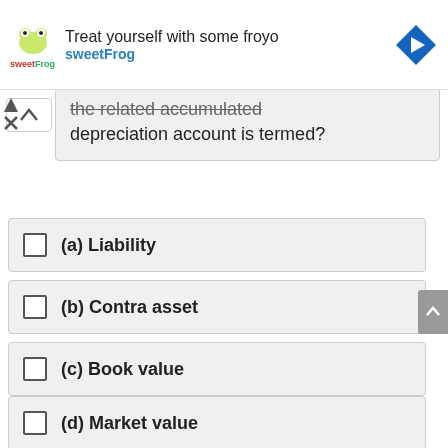[Figure (other): SweetFrog advertisement banner with logo, text 'Treat yourself with some froyo sweetFrog', and navigation arrow icon]
the related accumulated depreciation account is termed?
(a) Liability
(b) Contra asset
(c) Book value
(d) Market value